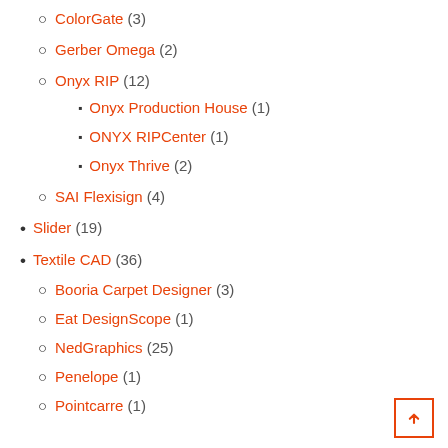ColorGate (3)
Gerber Omega (2)
Onyx RIP (12)
Onyx Production House (1)
ONYX RIPCenter (1)
Onyx Thrive (2)
SAI Flexisign (4)
Slider (19)
Textile CAD (36)
Booria Carpet Designer (3)
Eat DesignScope (1)
NedGraphics (25)
Penelope (1)
Pointcarre (1)